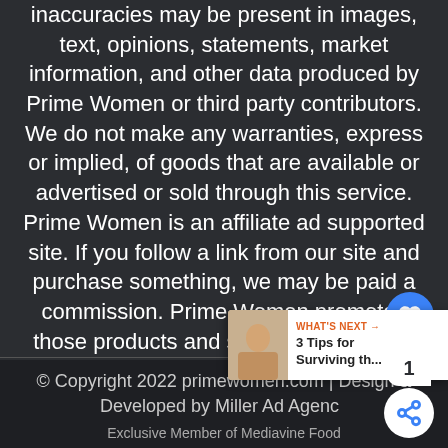inaccuracies may be present in images, text, opinions, statements, market information, and other data produced by Prime Women or third party contributors. We do not make any warranties, express or implied, of goods that are available or advertised or sold through this service. Prime Women is an affiliate ad supported site. If you follow a link from our site and purchase something, we may be paid a commission. Prime Women promotes those products and services with which we are personally familiar, and oftentimes, use ourselves.
© Copyright 2022 primewomen.com | Design & Developed by Miller Ad Agency
Exclusive Member of Mediavine Food